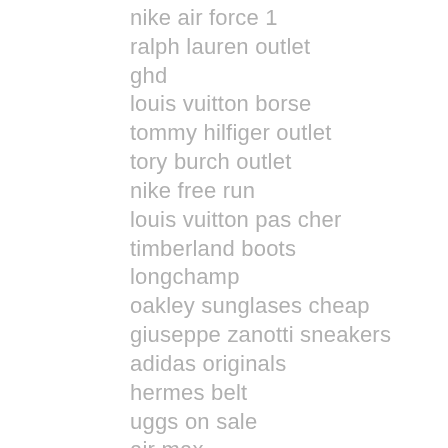nike air force 1
ralph lauren outlet
ghd
louis vuitton borse
tommy hilfiger outlet
tory burch outlet
nike free run
louis vuitton pas cher
timberland boots
longchamp
oakley sunglases cheap
giuseppe zanotti sneakers
adidas originals
hermes belt
uggs on sale
air max
air max 95
ralph lauren uk
oakley sunglasses wholesale
new balance outlet
nike roshe run
nike elite socks